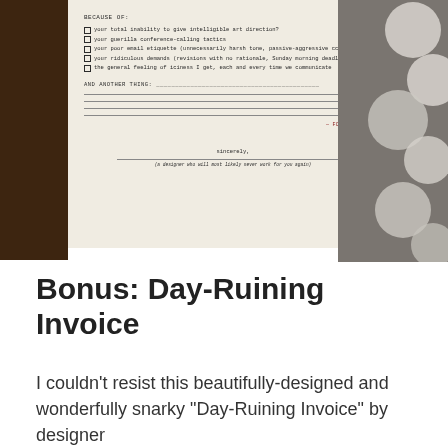[Figure (photo): A photograph of a printed 'Day-Ruining Invoice' document card on beige paper, placed on a dark wooden surface with white circular objects to the right. The card lists checkbox items under 'BECAUSE OF:' and has lines for 'AND ANOTHER THING:', ending with a signature line for 'a designer who will most likely never work for you again'.]
Bonus: Day-Ruining Invoice
I couldn’t resist this beautifully-designed and wonderfully snarky “Day-Ruining Invoice” by designer